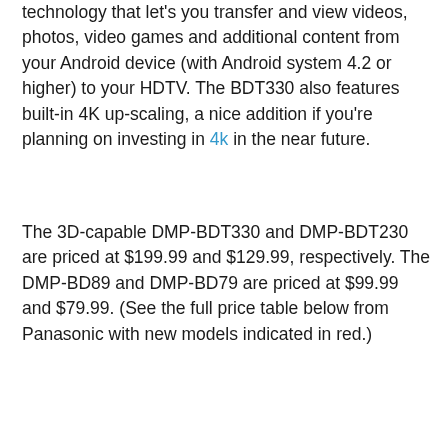speeds above, the BDT330 includes Miracast, a new technology that let's you transfer and view videos, photos, video games and additional content from your Android device (with Android system 4.2 or higher) to your HDTV. The BDT330 also features built-in 4K up-scaling, a nice addition if you're planning on investing in 4k in the near future.
The 3D-capable DMP-BDT330 and DMP-BDT230 are priced at $199.99 and $129.99, respectively. The DMP-BD89 and DMP-BD79 are priced at $99.99 and $79.99. (See the full price table below from Panasonic with new models indicated in red.)